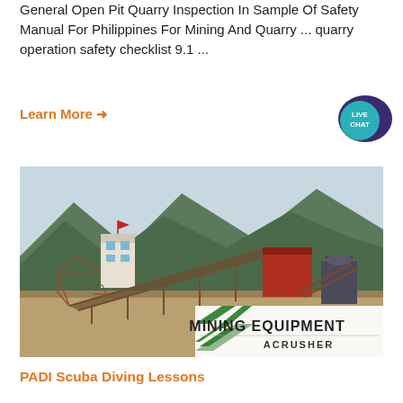General Open Pit Quarry Inspection In Sample Of Safety Manual For Philippines For Mining And Quarry ... quarry operation safety checklist 9.1 ...
Learn More →
[Figure (photo): Outdoor photo of a mining/quarry equipment site with conveyor belts, industrial machinery, a small control tower with a red flag, mountains in the background, and a branded overlay reading 'MINING EQUIPMENT ACRUSHER' with green diagonal stripes.]
PADI Scuba Diving Lessons